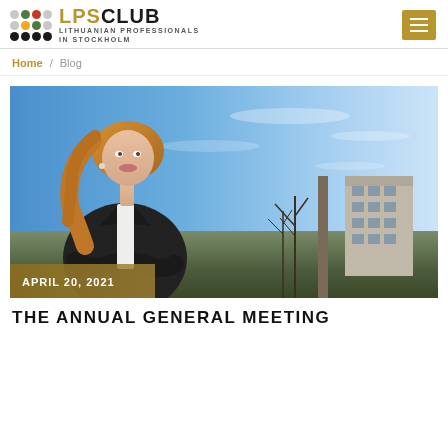LPS CLUB — LITHUANIAN PROFESSIONALS IN STOCKHOLM
Home / Blog
[Figure (photo): Woman with blonde hair in dark blazer sitting outdoors on a sunny day with blue sky background, a building and bare trees behind her. Date overlay: APRIL 20, 2021]
THE ANNUAL GENERAL MEETING